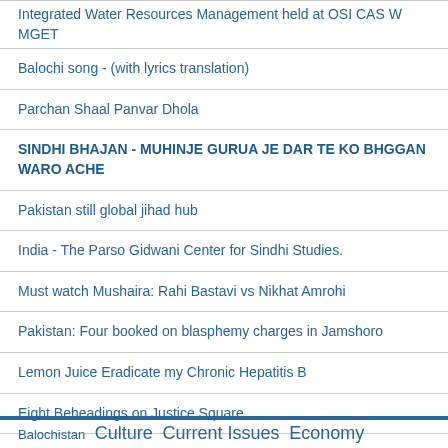Integrated Water Resources Management held at OSI CAS W MGET
Balochi song - (with lyrics translation)
Parchan Shaal Panvar Dhola
SINDHI BHAJAN - MUHINJE GURUA JE DAR TE KO BHGGAN WARO ACHE
Pakistan still global jihad hub
India - The Parso Gidwani Center for Sindhi Studies.
Must watch Mushaira: Rahi Bastavi vs Nikhat Amrohi
Pakistan: Four booked on blasphemy charges in Jamshoro
Lemon Juice Eradicate my Chronic Hepatitis B
Eight Beheadings on Justice Square
Balochistan  Culture  Current Issues  Economy